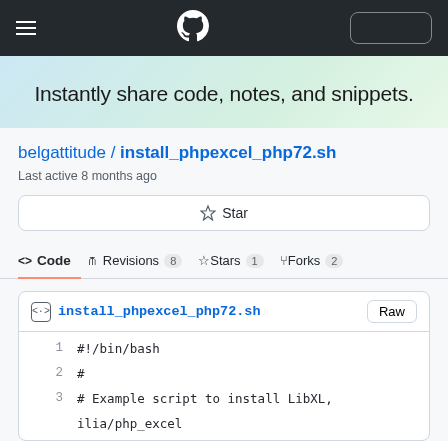GitHub navigation bar with hamburger menu, GitHub logo, and sign-in button
Instantly share code, notes, and snippets.
belgattitude / install_phpexcel_php72.sh
Last active 8 months ago
☆ Star
<> Code  Revisions 8  ☆Stars 1  Forks 2
install_phpexcel_php72.sh
1  #!/bin/bash
2  #
3  # Example script to install LibXL, ilia/php_excel